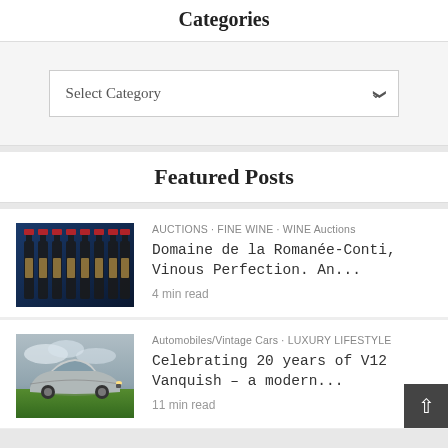Categories
Select Category
Featured Posts
AUCTIONS · FINE WINE · WINE Auctions
Domaine de la Romanée-Conti, Vinous Perfection. An...
4 min read
Automobiles/Vintage Cars · LUXURY LIFESTYLE
Celebrating 20 years of V12 Vanquish – a modern...
11 min read